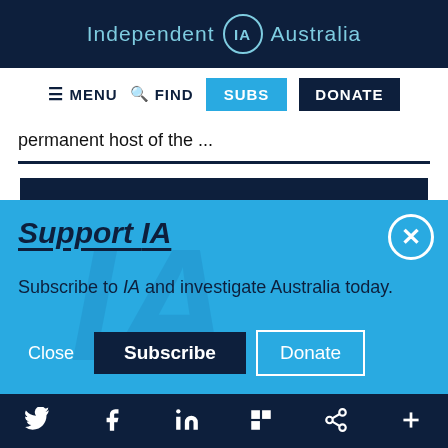Independent IA Australia
[Figure (screenshot): Navigation bar with MENU, FIND, SUBS (cyan), DONATE (dark blue) buttons]
permanent host of the ...
[Figure (screenshot): Support IA popup overlay with close button, Subscribe to IA and investigate Australia today. text, Close, Subscribe, and Donate buttons]
Social icons: Twitter, Facebook, LinkedIn, Flipboard, Share, Plus